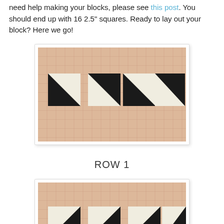need help making your blocks, please see this post. You should end up with 16 2.5" squares. Ready to lay out your block? Here we go!
[Figure (photo): Photo of four half-square triangle quilt blocks arranged in a row on a pink grid cutting mat. Each block is a square divided diagonally into a black triangle and a white/cream triangle, oriented in alternating directions.]
ROW 1
[Figure (photo): Partial photo of quilt blocks on a pink grid cutting mat showing what appears to be Row 2, with half-square triangle blocks visible — black and white triangles arranged in squares along the bottom of the frame.]